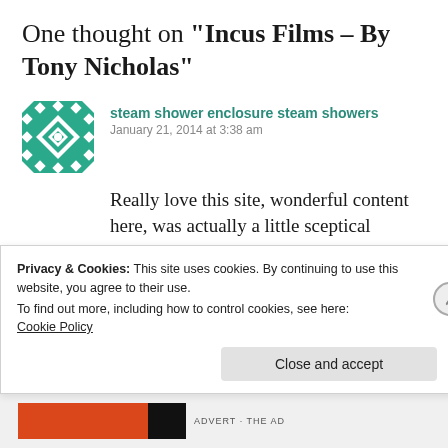One thought on “Incus Films – By Tony Nicholas”
[Figure (illustration): Green and white decorative geometric/quilt pattern avatar icon]
steam shower enclosure steam showers
January 21, 2014 at 3:38 am
Really love this site, wonderful content here, was actually a little sceptical around acquiring a steam shower system for our house
Privacy & Cookies: This site uses cookies. By continuing to use this website, you agree to their use.
To find out more, including how to control cookies, see here:
Cookie Policy
Close and accept